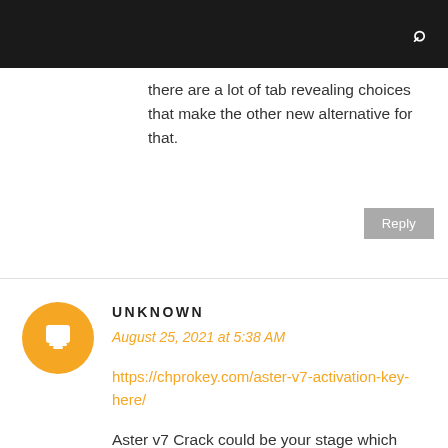[search icon]
there are a lot of tab revealing choices that make the other new alternative for that.
Reply
UNKNOWN
August 25, 2021 at 5:38 AM
https://chprokey.com/aster-v7-activation-key-here/
Aster v7 Crack could be your stage which transforms your own system to a multiuser channel. It is two or even more users to manually